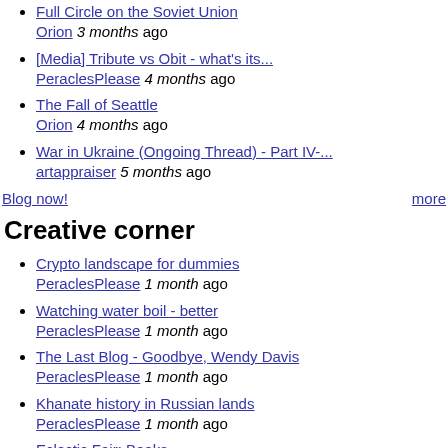Full Circle on the Soviet Union
Orion 3 months ago
[Media] Tribute vs Obit - what's its...
PeraclesPlease 4 months ago
The Fall of Seattle
Orion 4 months ago
War in Ukraine (Ongoing Thread) - Part IV-...
artappraiser 5 months ago
Blog now!     more
Creative corner
Crypto landscape for dummies
PeraclesPlease 1 month ago
Watching water boil - better
PeraclesPlease 1 month ago
The Last Blog - Goodbye, Wendy Davis
PeraclesPlease 1 month ago
Khanate history in Russian lands
PeraclesPlease 1 month ago
Eclectic Fair: Books
PeraclesPlease 1 month ago